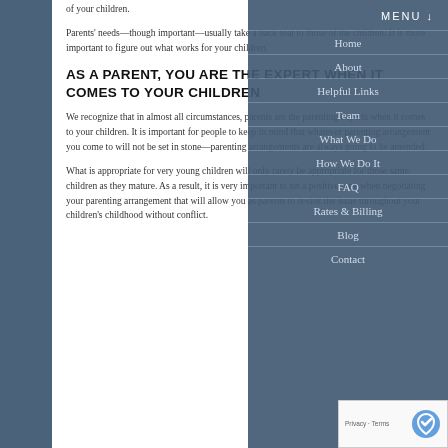of your children.
Parents' needs—though important—usually take a back seat to those of the children. It is more important to figure out what works for your children.
AS A PARENT, YOU ARE THE EXPERT WHEN IT COMES TO YOUR CHILDREN
We recognize that in almost all circumstances, parents are the parenting experts when it comes to your children. It is important for people to keep in mind that whatever parenting arrangement you come to will not be set in stone—parenting arrangements are always going to be amended.
What is appropriate for very young children will only rarely be appropriate for those same children as they mature. As a result, it is very important to set a positive tone when negotiating your parenting arrangement that will allow you as parents to revisit the issue throughout your children's childhood without conflict.